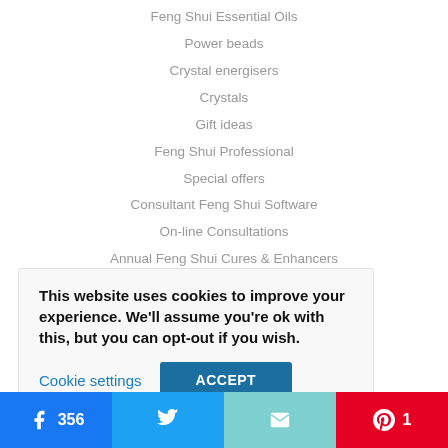Feng Shui Essential Oils
Power beads
Crystal energisers
Crystals
Gift ideas
Feng Shui Professional
Special offers
Consultant Feng Shui Software
On-line Consultations
Annual Feng Shui Cures & Enhancers
Annual #1 Star Cures
Annual #2 Star Cures
Annual #3 Star Cures
This website uses cookies to improve your experience. We'll assume you're ok with this, but you can opt-out if you wish.
Cookie settings  ACCEPT
356  [Twitter share]  [Email share]  1